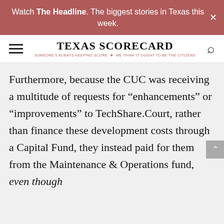Watch The Headline. The biggest stories in Texas this week.
[Figure (logo): Texas Scorecard logo with hamburger menu and search icon. Logo text: TEXAS SCORECARD. Subtitle: SOMEONE'S ALWAYS KEEPING SCORE - WE THINK IT OUGHT TO BE THE CITIZENS]
Furthermore, because the CUC was receiving a multitude of requests for “enhancements” or “improvements” to TechShare.Court, rather than finance these development costs through a Capital Fund, they instead paid for them from the Maintenance & Operations fund, even though